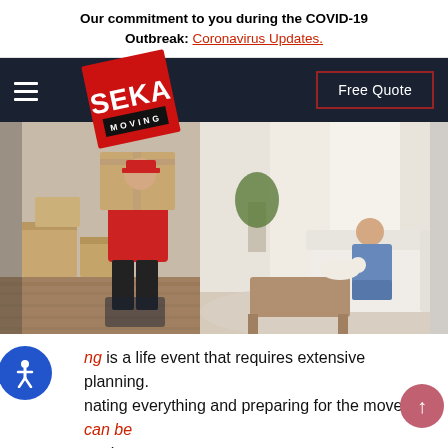Our commitment to you during the COVID-19 Outbreak: Coronavirus Updates.
[Figure (screenshot): SEKA Moving website navigation bar with dark background, hamburger menu, SEKA Moving logo (red tilted square with white SEKA text and MOVING below), and Free Quote button with red border on the right.]
[Figure (photo): A mover in red uniform carrying a large cardboard box in a living room. A person sits on a white couch with a dog. Moving boxes are visible on the left.]
Moving is a life event that requires extensive planning. Coordinating everything and preparing for the move can be challenging.
There are many things to think about when it comes to